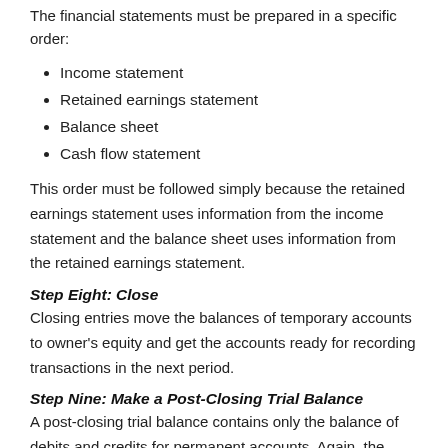The financial statements must be prepared in a specific order:
Income statement
Retained earnings statement
Balance sheet
Cash flow statement
This order must be followed simply because the retained earnings statement uses information from the income statement and the balance sheet uses information from the retained earnings statement.
Step Eight: Close
Closing entries move the balances of temporary accounts to owner's equity and get the accounts ready for recording transactions in the next period.
Step Nine: Make a Post-Closing Trial Balance
A post-closing trial balance contains only the balance of debits and credits for permanent accounts. Again, the purpose is to make sure that debits equal credits and that all temporary accounts have a zero balance.